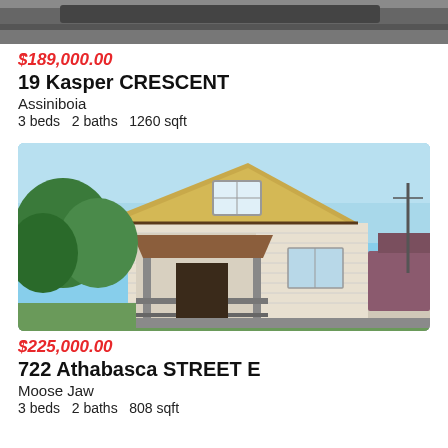[Figure (photo): Top portion of a property photo, showing a dark driveway/road, cropped at the top of the page]
$189,000.00
19 Kasper CRESCENT
Assiniboia
3 beds   2 baths   1260 sqft
[Figure (photo): Exterior photo of a residential house with yellow/tan siding, a covered front porch with brown awning, green trees on the left, blue sky, and a neighboring purple/maroon garage on the right]
$225,000.00
722 Athabasca STREET E
Moose Jaw
3 beds   2 baths   808 sqft